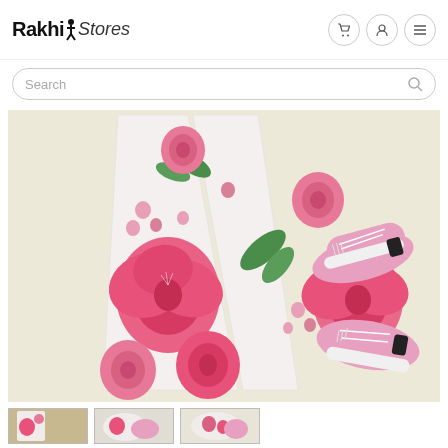Rakhi Stores — navigation header with logo and icons
Search
[Figure (photo): Flat-lay photo of children's white floral-print leggings with large pink roses and green leaves, paired with pink canvas sneakers, on a cream/beige background]
[Figure (photo): Thumbnail 1 of product]
[Figure (photo): Thumbnail 2 of product]
[Figure (photo): Thumbnail 3 of product]